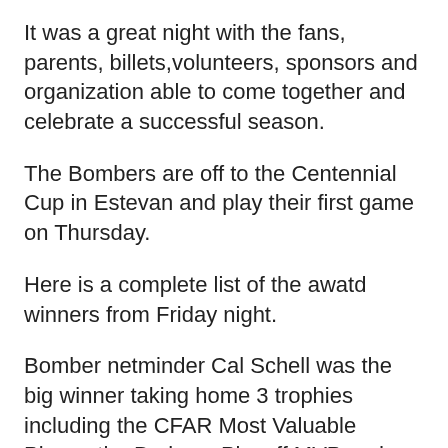It was a great night with the fans, parents, billets,volunteers, sponsors and organization able to come together and celebrate a successful season.
The Bombers are off to the Centennial Cup in Estevan and play their first game on Thursday.
Here is a complete list of the awatd winners from Friday night.
Bomber netminder Cal Schell was the big winner taking home 3 trophies including the CFAR Most Valuable Player, the Burkees Playoff MVP and First Star for the Royal Bank 3 Stars.
Gabriel Shipper also won three including  the FF Bombers Most Popular Player, the Howard Fox